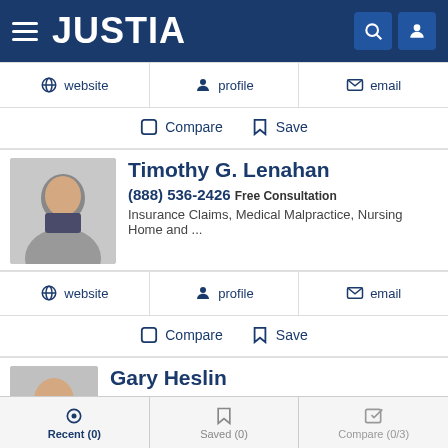[Figure (screenshot): Justia website header with logo and navigation icons]
website   profile   email
Compare   Save
Timothy G. Lenahan
(888) 536-2426 Free Consultation
Insurance Claims, Medical Malpractice, Nursing Home and ...
website   profile   email
Compare   Save
Gary Heslin
(215) 332-0300 Free Consultation
Insurance Claims, Personal Injury, and Workers' Comp
Recent (0)   Saved (0)   Compare (0/3)